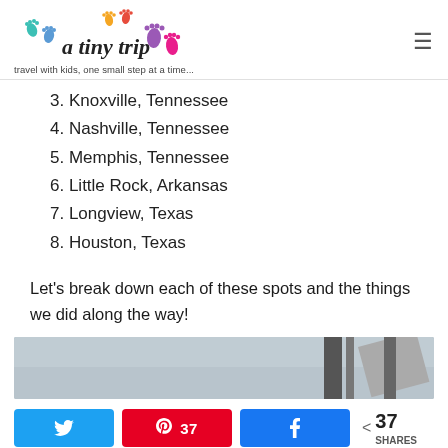a tiny trip — travel with kids, one small step at a time...
3. Knoxville, Tennessee
4. Nashville, Tennessee
5. Memphis, Tennessee
6. Little Rock, Arkansas
7. Longview, Texas
8. Houston, Texas
Let's break down each of these spots and the things we did along the way!
[Figure (photo): Partial view of a building or structure against a grey sky]
Twitter share button | Pinterest 37 | Facebook share button | < 37 SHARES